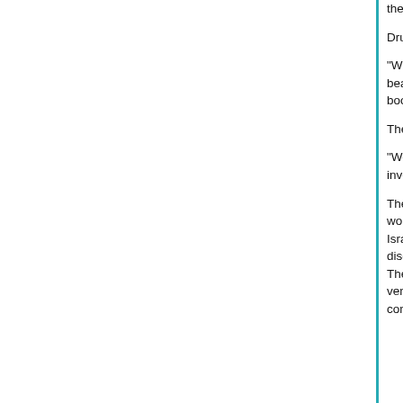the foremost centre for eBook automation serving international markets".
Druanne Martin, OverDrive's Director of publishing
"With Jamaica and Cleveland, Ohio sharing the sa have our US and Jamaican production teams in sy beautiful and warm climate, literally, for us to buil and to invite our publishing and content clients to books in production".
The Jamaican Minister of Industry, Commerce and Phillip Paulwell reciprocates:
"We are proud that OverDrive has selected Jamai leadership in eBook technology. OverDrive is ben investments Jamaica has made in developing the IT companies to locate and build skilled workforce
There is nothing new in outsourcing back office w processing, air ticket reservations, medical record world countries, such as (the notable example) In Development is routinely farmed out to aspiring fi as Israel and Ireland. But OverDrive's Jamaican f something more sophisticated and more durable. discovering the immense pools of skills, talent, in scientific and other education often offered even b These multinationals entrust the locals now with m and responding to customer queries using fake na venture is a business partnership. In a way, it is a animation is produced in India and consumed in t compensation of scientists attracts the technology likes of General Electric to Asia and Intel to Israel.